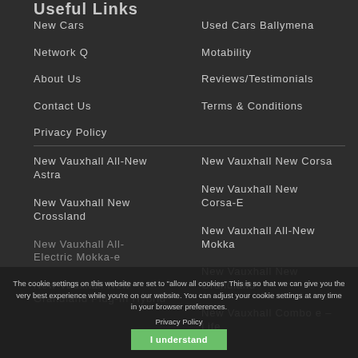Useful Links
New Cars
Used Cars Ballymena
Network Q
Motability
About Us
Reviews/Testimonials
Contact Us
Terms & Conditions
Privacy Policy
New Vauxhall All-New Astra
New Vauxhall New Corsa
New Vauxhall New Corsa-E
New Vauxhall New Crossland
New Vauxhall All-New Mokka
New Vauxhall All-New Electric Mokka-e
New Vauxhall New Grandland
New Vauxhall New Grandland Plug-In Hybrid
New Vauxhall Combo e – Lifeorsa
The cookie settings on this website are set to "allow all cookies" This is so that we can give you the very best experience while you're on our website. You can adjust your cookie settings at any time in your browser preferences.
Privacy Policy
I understand